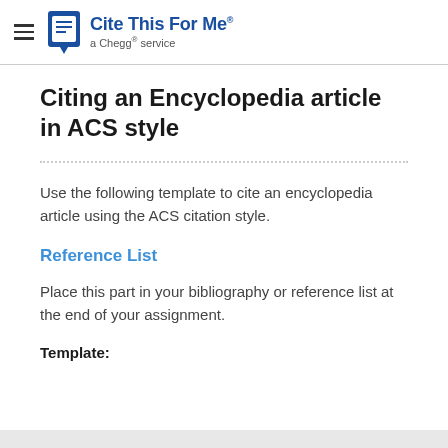Cite This For Me · a Chegg service
Citing an Encyclopedia article in ACS style
Use the following template to cite an encyclopedia article using the ACS citation style.
Reference List
Place this part in your bibliography or reference list at the end of your assignment.
Template: